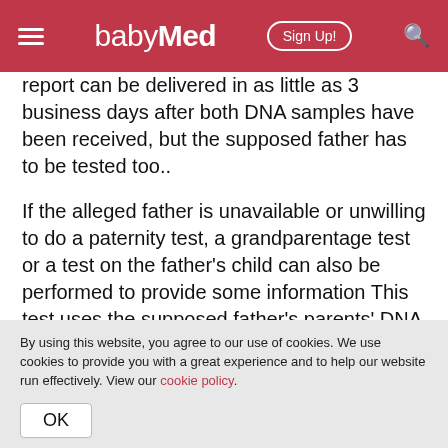babyMed | Sign Up!
report can be delivered in as little as 3 business days after both DNA samples have been received, but the supposed father has to be tested too..
If the alleged father is unavailable or unwilling to do a paternity test, a grandparentage test or a test on the father's child can also be performed to provide some information This test uses the supposed father's parents' DNA to determine if the child is biologically related to the grandparents. This test determines if the child is a grandchild of
By using this website, you agree to our use of cookies. We use cookies to provide you with a great experience and to help our website run effectively. View our cookie policy.